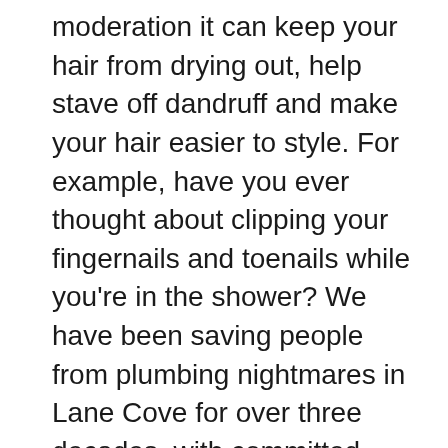moderation it can keep your hair from drying out, help stave off dandruff and make your hair easier to style. For example, have you ever thought about clipping your fingernails and toenails while you're in the shower? We have been saving people from plumbing nightmares in Lane Cove for over three decades, with committed merchants working on all types of residential plumbing services. Think about it: Three or four days' worth of beard takes longer to deal with than a day's worth of stubble because too much hair can clog the razor. We know you don't like having to deal with plumbing or HVAC problems yourself, so let our experienced professionals handle everything for you.